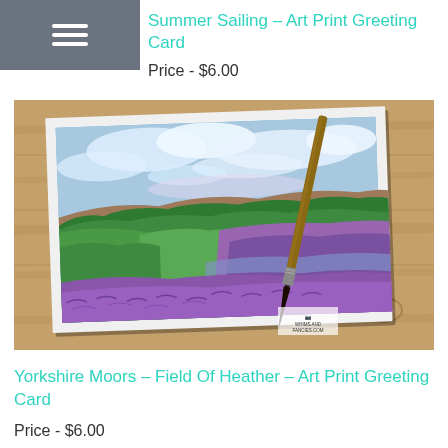Summer Sailing – Art Print Greeting Card
Price - $6.00
[Figure (photo): A greeting card showing a landscape painting of Yorkshire Moors with heather fields in purple, green hills, and a sky with clouds. The card is placed on a wooden surface with a paintbrush resting on it. A watermark reads WHIMS AND FANCIES.COM]
Yorkshire Moors – Field Of Heather – Art Print Greeting Card
Price - $6.00